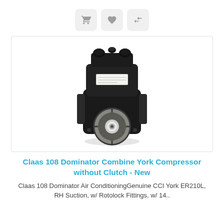[Figure (other): Three UI icon buttons: shopping cart, heart/wishlist, and compare arrows, displayed as rounded square buttons with gray icons on light gray background]
[Figure (photo): A black York air conditioning compressor without clutch (CCI York ER210L), shown from front view with a circular clutch plate opening visible at the bottom center. The compressor is heavy-duty industrial/agricultural equipment with multiple ports on top.]
Claas 108 Dominator Combine York Compressor without Clutch - New
Claas 108 Dominator Air ConditioningGenuine CCI York ER210L, RH Suction, w/ Rotolock Fittings, w/ 14..